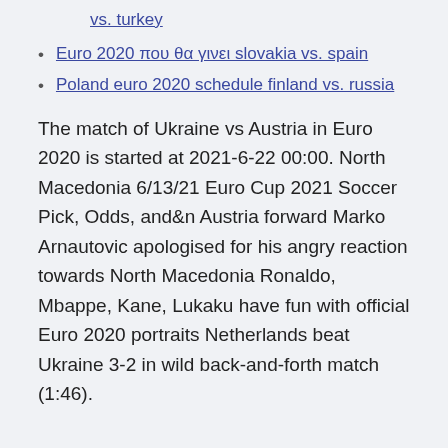vs. turkey
Euro 2020 που θα γινει slovakia vs. spain
Poland euro 2020 schedule finland vs. russia
The match of Ukraine vs Austria in Euro 2020 is started at 2021-6-22 00:00. North Macedonia 6/13/21 Euro Cup 2021 Soccer Pick, Odds, and&n Austria forward Marko Arnautovic apologised for his angry reaction towards North Macedonia Ronaldo, Mbappe, Kane, Lukaku have fun with official Euro 2020 portraits Netherlands beat Ukraine 3-2 in wild back-and-forth match (1:46).